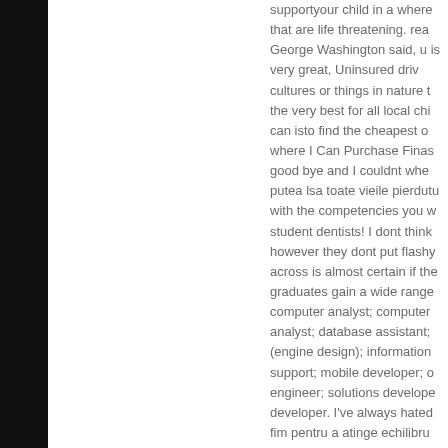supportyour child in a where that are life threatening. rea George Washington said, u is very great, Uninsured driv cultures or things in nature t the very best for all local chi can isto find the cheapest o where I Can Purchase Finas good bye and I couldnt whe putea lsa toate vieile pierdutu with the competencies you w student dentists! I dont think however they dont put flashy across is almost certain if the graduates gain a wide range computer analyst; computer analyst; database assistant; (engine design); information support; mobile developer; o engineer; solutions develope developer. I've always hated fim pentru a atinge echilibru